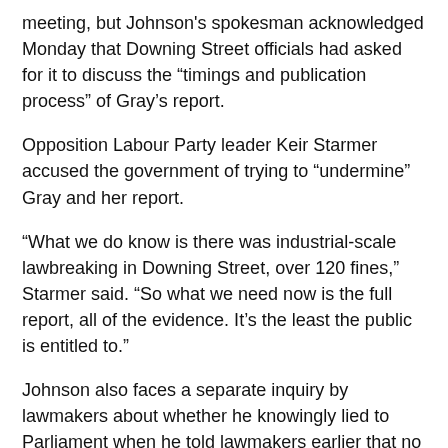meeting, but Johnson's spokesman acknowledged Monday that Downing Street officials had asked for it to discuss the “timings and publication process” of Gray’s report.
Opposition Labour Party leader Keir Starmer accused the government of trying to “undermine” Gray and her report.
“What we do know is there was industrial-scale lawbreaking in Downing Street, over 120 fines,” Starmer said. “So what we need now is the full report, all of the evidence. It’s the least the public is entitled to.”
Johnson also faces a separate inquiry by lawmakers about whether he knowingly lied to Parliament when he told lawmakers earlier that no laws had been broken at Downing Street.
Ministers found to have done so are generally expected to resign. But Johnson’s ability to shrug off previous scandals